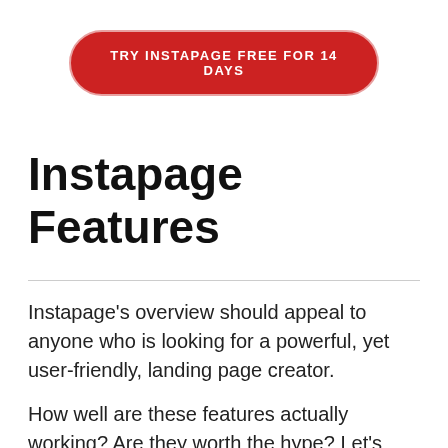[Figure (other): Red rounded rectangle button with white uppercase text reading 'TRY INSTAPAGE FREE FOR 14 DAYS']
Instapage Features
Instapage's overview should appeal to anyone who is looking for a powerful, yet user-friendly, landing page creator.
How well are these features actually working? Are they worth the hype? Let's